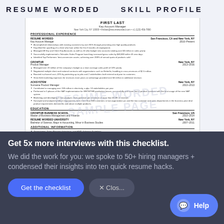RESUME WORDED SKILL PROFILE
[Figure (screenshot): A resume document screenshot showing a Key Account Manager resume with professional experience, education, and additional information sections. The resume is partially obscured by a watermark.]
Get 5x more interviews with this checklist.
We did the work for you: we spoke to 50+ hiring managers + condensed their insights into ten quick resume hacks.
Get the checklist | × Clos... | Help